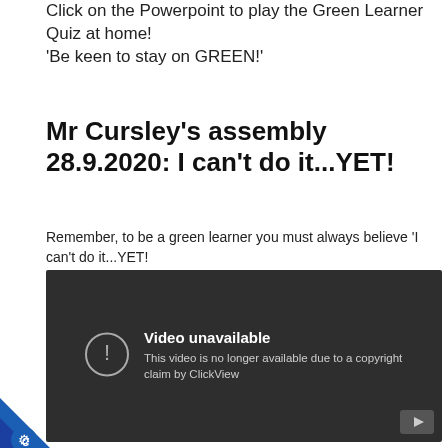Click on the Powerpoint to play the Green Learner Quiz at home!
'Be keen to stay on GREEN!'
Mr Cursley's assembly 28.9.2020: I can't do it...YET!
Remember, to be a green learner you must always believe 'I can't do it...YET!
[Figure (screenshot): Embedded YouTube video player showing 'Video unavailable - This video is no longer available due to a copyright claim by ClickView']